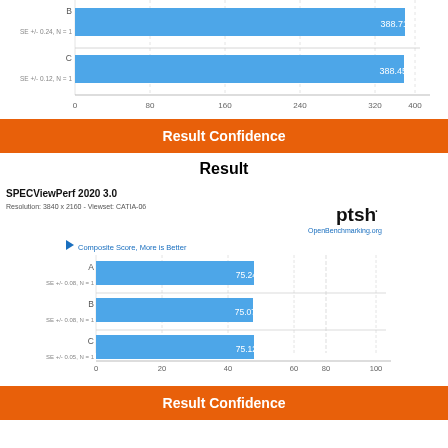[Figure (bar-chart): (partial top chart)]
Result Confidence
Result
[Figure (bar-chart): SPECViewPerf 2020 3.0 – Resolution: 3840 x 2160 – Viewset: CATIA-06 – Composite Score, More is Better]
Result Confidence